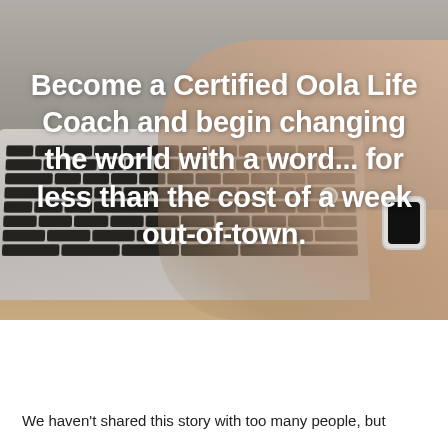[Figure (photo): Person's hands typing on a laptop keyboard, wearing a smartwatch and rings, on a wooden table. Dark background photo used as image overlay.]
Become a Certified Oola Life Coach and begin changing the world with a word... for less than the cost of a week out-of-town.
We haven't shared this story with too many people, but